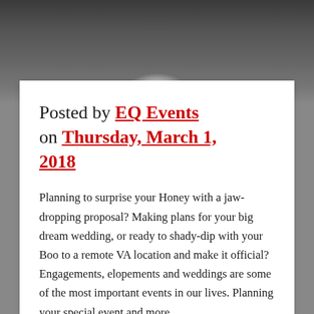[Figure (photo): Dark outdoor background photo showing a person in a dress on pavement, visible from waist down]
Posted by EQ Events on Thursday, March 1, 2018
Planning to surprise your Honey with a jaw-dropping proposal? Making plans for your big dream wedding, or ready to shady-dip with your Boo to a remote VA location and make it official? Engagements, elopements and weddings are some of the most important events in our lives. Planning your special event and more...